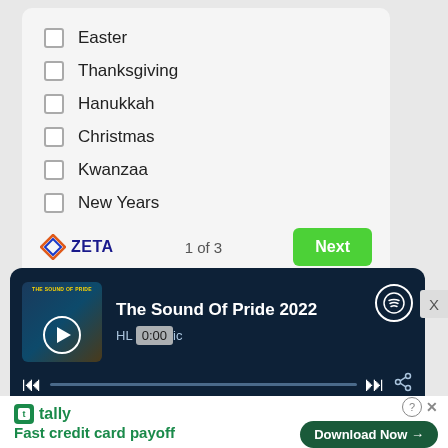Easter
Thanksgiving
Hanukkah
Christmas
Kwanzaa
New Years
ZETA  1 of 3  Next
[Figure (screenshot): Spotify music player widget showing 'The Sound Of Pride 2022' playlist by HL Music. Shows album art, play button, progress bar at 0:00, skip controls, share icon, and first track '1 I Am Her - Shea Diamond 3:32' on dark navy background.]
[Figure (screenshot): Tally app advertisement banner showing logo, 'Fast credit card payoff' text, and 'Download Now' button with help and close icons.]